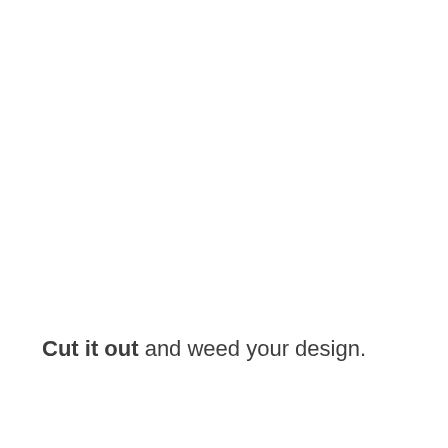Cut it out and weed your design.